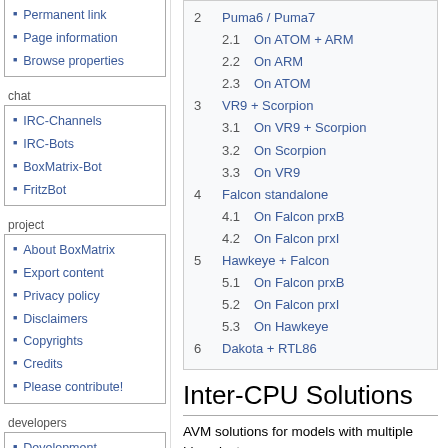Permanent link
Page information
Browse properties
chat
IRC-Channels
IRC-Bots
BoxMatrix-Bot
FritzBot
project
About BoxMatrix
Export content
Privacy policy
Disclaimers
Copyrights
Credits
Please contribute!
developers
Development
SVN-Server
Trac-Server
admin
Contact admin
Admin log in
| 2 | Puma6 / Puma7 |
| 2.1 | On ATOM + ARM |
| 2.2 | On ARM |
| 2.3 | On ATOM |
| 3 | VR9 + Scorpion |
| 3.1 | On VR9 + Scorpion |
| 3.2 | On Scorpion |
| 3.3 | On VR9 |
| 4 | Falcon standalone |
| 4.1 | On Falcon prxB |
| 4.2 | On Falcon prxI |
| 5 | Hawkeye + Falcon |
| 5.1 | On Falcon prxB |
| 5.2 | On Falcon prxI |
| 5.3 | On Hawkeye |
| 6 | Dakota + RTL86 |
Inter-CPU Solutions
AVM solutions for models with multiple Linux instances
Puma6 / Puma7